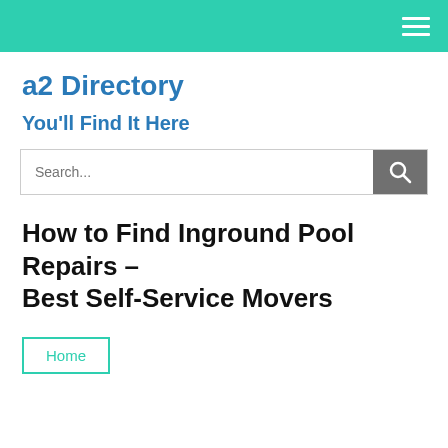a2 Directory — header bar with hamburger menu
a2 Directory
You'll Find It Here
[Figure (other): Search bar with text input placeholder 'Search...' and a dark grey search button with magnifying glass icon]
How to Find Inground Pool Repairs – Best Self-Service Movers
Home